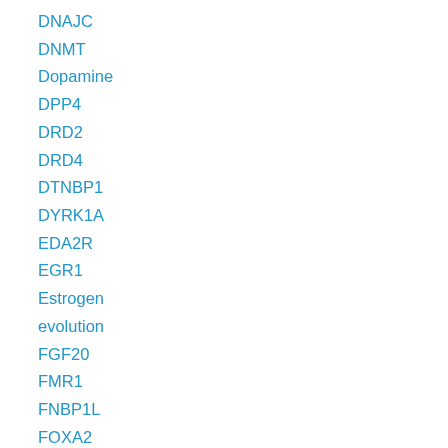DNAJC
DNMT
Dopamine
DPP4
DRD2
DRD4
DTNBP1
DYRK1A
EDA2R
EGR1
Estrogen
evolution
FGF20
FMR1
FNBP1L
FOXA2
FOXP2
Frontal cortex
Frontal pole
Fusiform gyrus